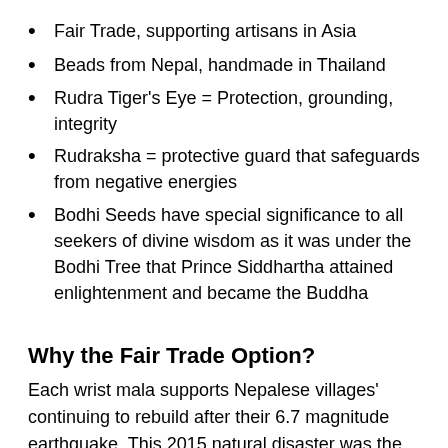Fair Trade, supporting artisans in Asia
Beads from Nepal, handmade in Thailand
Rudra Tiger's Eye = Protection, grounding, integrity
Rudraksha = protective guard that safeguards from negative energies
Bodhi Seeds have special significance to all seekers of divine wisdom as it was under the Bodhi Tree that Prince Siddhartha attained enlightenment and became the Buddha
Why the Fair Trade Option?
Each wrist mala supports Nepalese villages' continuing to rebuild after their 6.7 magnitude earthquake. This 2015 natural disaster was the worst since 1934, and as a developing